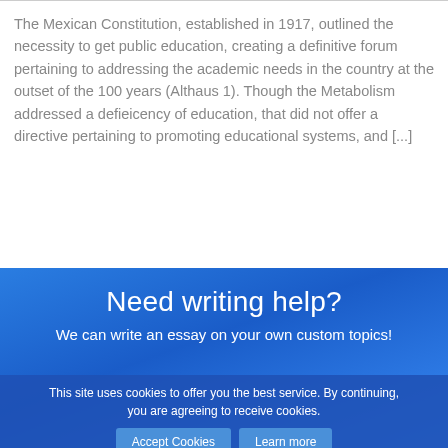The Mexican Constitution, established in 1917, outlined the necessity to get public education, creating a definitive forum pertaining to addressing the academic needs in the country at the outset of the 100 years (Althaus 1). Though the Metabolism addressed a defieicency of education, that did not offer a directive pertaining to promoting educational systems, and [...]
Need writing help?
We can write an essay on your own custom topics!
This site uses cookies to offer you the best service. By continuing, you are agreeing to receive cookies.